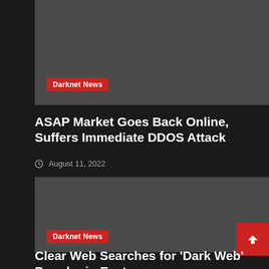[Figure (photo): Dark gray placeholder image for a news article]
Darknet News
ASAP Market Goes Back Online, Suffers Immediate DDOS Attack
August 11, 2022
[Figure (photo): Dark gray placeholder image for a news article]
Darknet News
Clear Web Searches for 'Dark Web' Popular in Eastern